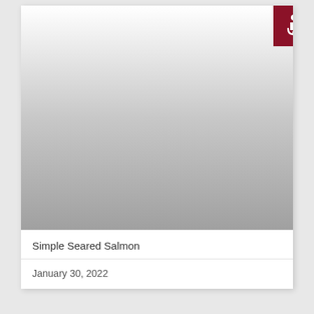[Figure (photo): A food photo placeholder showing a gradient gray image area representing Simple Seared Salmon, with a dark red accessibility icon badge in the top right corner]
Simple Seared Salmon
January 30, 2022